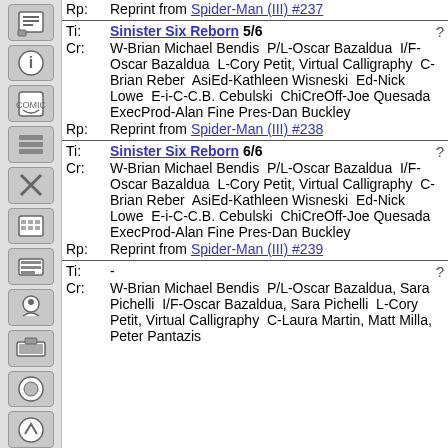Rp: Reprint from Spider-Man (III) #237
Ti: Sinister Six Reborn 5/6 | Cr: W-Brian Michael Bendis P/L-Oscar Bazaldua I/F-Oscar Bazaldua L-Cory Petit, Virtual Calligraphy C-Brian Reber AsiEd-Kathleen Wisneski Ed-Nick Lowe E-i-C-C.B. Cebulski ChiCreOff-Joe Quesada ExecProd-Alan Fine Pres-Dan Buckley | Rp: Reprint from Spider-Man (III) #238
Ti: Sinister Six Reborn 6/6 | Cr: W-Brian Michael Bendis P/L-Oscar Bazaldua I/F-Oscar Bazaldua L-Cory Petit, Virtual Calligraphy C-Brian Reber AsiEd-Kathleen Wisneski Ed-Nick Lowe E-i-C-C.B. Cebulski ChiCreOff-Joe Quesada ExecProd-Alan Fine Pres-Dan Buckley | Rp: Reprint from Spider-Man (III) #239
Ti: - | Cr: W-Brian Michael Bendis P/L-Oscar Bazaldua, Sara Pichelli I/F-Oscar Bazaldua, Sara Pichelli L-Cory Petit, Virtual Calligraphy C-Laura Martin, Matt Milla, Peter Pantazis